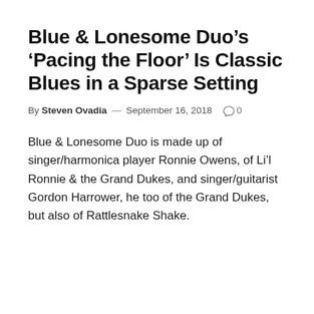Blue & Lonesome Duo's 'Pacing the Floor' Is Classic Blues in a Sparse Setting
By Steven Ovadia — September 16, 2018  0
Blue & Lonesome Duo is made up of singer/harmonica player Ronnie Owens, of Li'l Ronnie & the Grand Dukes, and singer/guitarist Gordon Harrower, he too of the Grand Dukes, but also of Rattlesnake Shake.